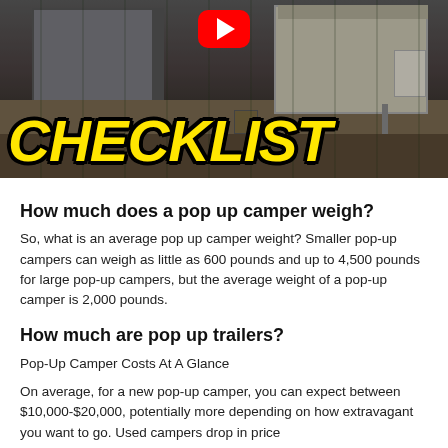[Figure (photo): YouTube thumbnail showing a pop-up camper at a campsite with large yellow italic bold text 'CHECKLIST' overlay and a red YouTube play button icon at the top center]
How much does a pop up camper weigh?
So, what is an average pop up camper weight? Smaller pop-up campers can weigh as little as 600 pounds and up to 4,500 pounds for large pop-up campers, but the average weight of a pop-up camper is 2,000 pounds.
How much are pop up trailers?
Pop-Up Camper Costs At A Glance
On average, for a new pop-up camper, you can expect between $10,000-$20,000, potentially more depending on how extravagant you want to go. Used campers drop in price